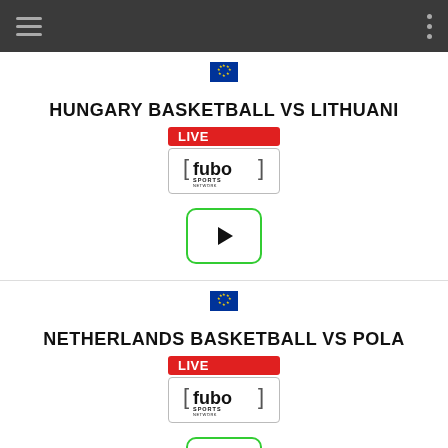Navigation bar with hamburger menu and dots menu
[Figure (screenshot): EU flag icon for Hungary Basketball vs Lithuani card]
HUNGARY BASKETBALL VS LITHUANI
[Figure (logo): LIVE badge over fubo SPORTS NETWORK logo]
[Figure (screenshot): Green bordered play button for Hungary Basketball]
[Figure (screenshot): EU flag icon for Netherlands Basketball vs Pola card]
NETHERLANDS BASKETBALL VS POLA
[Figure (logo): LIVE badge over fubo SPORTS NETWORK logo]
[Figure (screenshot): Green bordered play button for Netherlands Basketball]